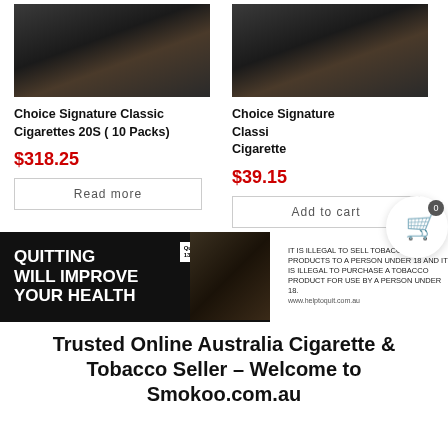[Figure (photo): Photo of hands stubbing out a cigarette in an ashtray, left product card]
[Figure (photo): Photo of hands stubbing out a cigarette in an ashtray, right product card (partially obscured by cart overlay)]
Choice Signature Classic Cigarettes 20S ( 10 Packs)
Choice Signature Classic Cigarettes
$318.25
$39.15
Read more
Add to cart
[Figure (infographic): Health warning banner: QUITTING WILL IMPROVE YOUR HEALTH with Quitline 13 7848 text and photo of ashtray, alongside legal text about tobacco sales]
IT IS ILLEGAL TO SELL TOBACCO PRODUCTS TO A PERSON UNDER 18 AND IT IS ILLEGAL TO PURCHASE A TOBACCO PRODUCT FOR USE BY A PERSON UNDER 18.
www.helptoquit.com.au
Trusted Online Australia Cigarette & Tobacco Seller – Welcome to Smokoo.com.au